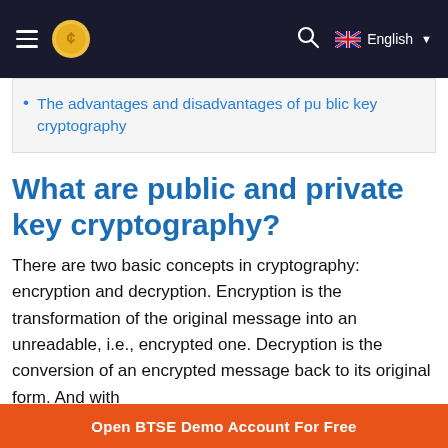BTSE navigation bar with hamburger menu, logo, search icon, English language selector
The advantages and disadvantages of public key cryptography
What are public and private key cryptography?
There are two basic concepts in cryptography: encryption and decryption. Encryption is the transformation of the original message into an unreadable, i.e., encrypted one. Decryption is the conversion of an encrypted message back to its original form. And with some algorithms, such
Open BTSE Demo Account For Free